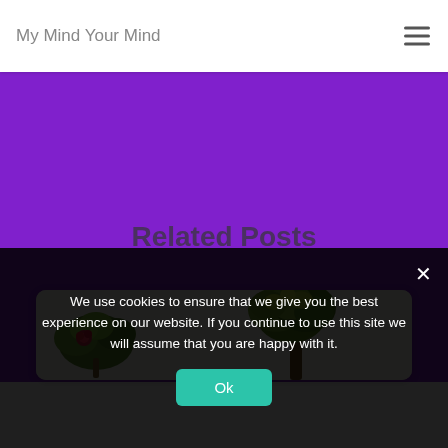My Mind Your Mind
Related Posts
[Figure (illustration): Illustrated trees with green foliage and a wreath with a red flower, on a white card background]
We use cookies to ensure that we give you the best experience on our website. If you continue to use this site we will assume that you are happy with it.